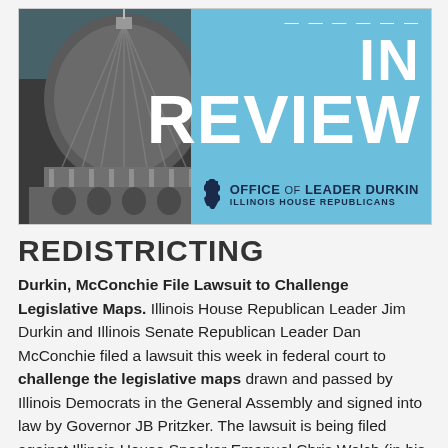[Figure (illustration): Header image for 'In Review' government document from the Office of Leader Durkin, Illinois House Republicans. Features a black and white Illinois State Capitol dome on the left against a light blue background with large white bold text reading 'IN REVIEW'. An Illinois state shape icon and the text 'OFFICE OF LEADER DURKIN / ILLINOIS HOUSE REPUBLICANS' appear in the lower right.]
REDISTRICTING
Durkin, McConchie File Lawsuit to Challenge Legislative Maps. Illinois House Republican Leader Jim Durkin and Illinois Senate Republican Leader Dan McConchie filed a lawsuit this week in federal court to challenge the legislative maps drawn and passed by Illinois Democrats in the General Assembly and signed into law by Governor JB Pritzker. The lawsuit is being filed against Illinois House Speaker Emanuel Chris Welch (in his official capacity), Illinois Senate President Don Harmon (in his official capacity), Illinois Board of Elections and its members.